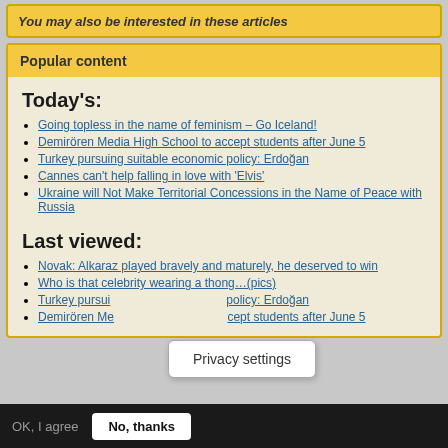You may also be interested in these articles
Popular content
Today's:
Going topless in the name of feminism – Go Iceland!
Demirören Media High School to accept students after June 5
Turkey pursuing suitable economic policy: Erdoğan
Cannes can't help falling in love with 'Elvis'
Ukraine will Not Make Territorial Concessions in the Name of Peace with Russia
Last viewed:
Novak: Alkaraz played bravely and maturely, he deserved to win
Who is that celebrity wearing a thong…(pics)
Turkey pursuing suitable economic policy: Erdoğan
Demirören Media High School to accept students after June 5
Privacy settings
We use cookies on this site to enhance your user experience By clicking any link on this page you are giving your consent for us to set cookies. No, give me more info
OK, I agree
No, thanks